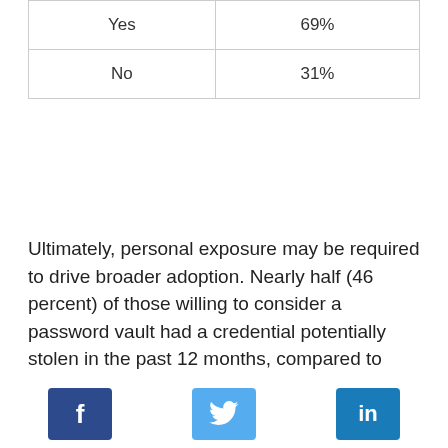|  |  |
| --- | --- |
| Yes | 69% |
| No | 31% |
Ultimately, personal exposure may be required to drive broader adoption. Nearly half (46 percent) of those willing to consider a password vault had a credential potentially stolen in the past 12 months, compared to only 32 percent of those stating they'll never use one. Additionally, 13 percent of current password manager users signed up after suffering a recent theft.
As victimization unfortunately rises, so may the motivation to take appropriate precautions.
[Figure (infographic): Social media share buttons: Facebook (dark blue, f icon), Twitter (light blue, bird icon), LinkedIn (medium blue, in icon)]